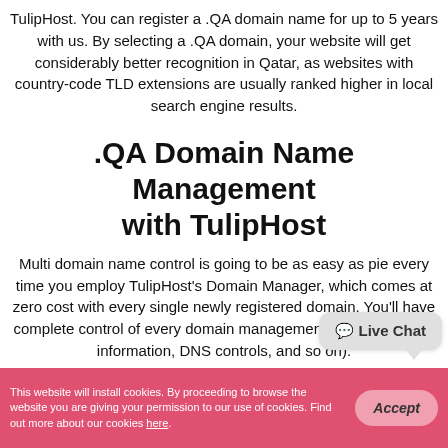TulipHost. You can register a .QA domain name for up to 5 years with us. By selecting a .QA domain, your website will get considerably better recognition in Qatar, as websites with country-code TLD extensions are usually ranked higher in local search engine results.
.QA Domain Name Management with TulipHost
Multi domain name control is going to be as easy as pie every time you employ TulipHost's Domain Manager, which comes at zero cost with every single newly registered domain. You'll have complete control of every domain management aspect (WHOIS information, DNS controls, and so on).
[Figure (other): Live Chat speech bubble button overlay]
This website will install cookies. By proceeding to browse the website you are giving your permission to our use of cookies. Find out more about our cookies here.